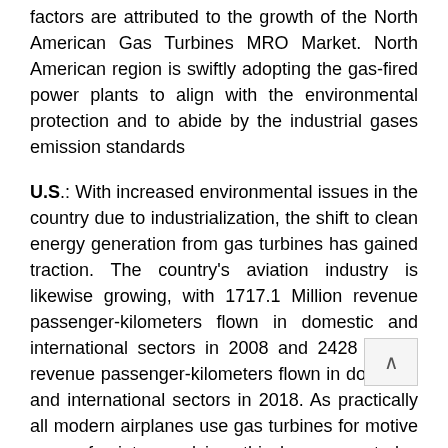factors are attributed to the growth of the North American Gas Turbines MRO Market. North American region is swiftly adopting the gas-fired power plants to align with the environmental protection and to abide by the industrial gases emission standards
U.S.: With increased environmental issues in the country due to industrialization, the shift to clean energy generation from gas turbines has gained traction. The country's aviation industry is likewise growing, with 1717.1 Million revenue passenger-kilometers flown in domestic and international sectors in 2008 and 2428 Million revenue passenger-kilometers flown in domestic and international sectors in 2018. As practically all modern airplanes use gas turbines for motive power for jet propulsion, this has generated a major market for gas turbine MRO in the country.
Canada: The country remained the lowest market shareholder for industrial gas turbine MRO among the